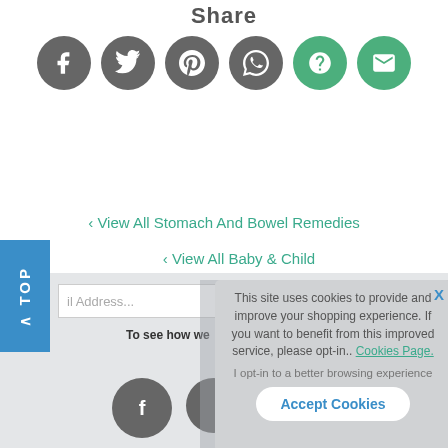Share
[Figure (infographic): Six circular social media share buttons: Facebook (grey), Twitter (grey), Pinterest (grey), WhatsApp (grey), Unknown/? (green), Email (green)]
‹ View All Stomach And Bowel Remedies
‹ View All Baby & Child
‹ View All...
This site uses cookies to provide and improve your shopping experience. If you want to benefit from this improved service, please opt-in.. Cookies Page. I opt-in to a better browsing experience
Accept Cookies
X
il Address...
To see how we